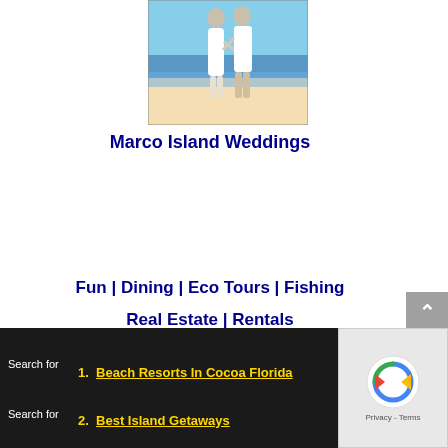[Figure (photo): Couple walking on a beach, the woman in white dress and the man in white shirt and khaki pants, holding hands near the ocean shoreline.]
Marco Island Weddings
Fun | Dining | Eco Tours | Fishing
Real Estate | Rentals
Resorts | Pet Friendly
1. Beach Resorts In Cocoa Florida
2. Best Island Getaways
Search for
[Figure (other): reCAPTCHA widget showing a rotating arrows logo with 'Privacy - Terms' text below]